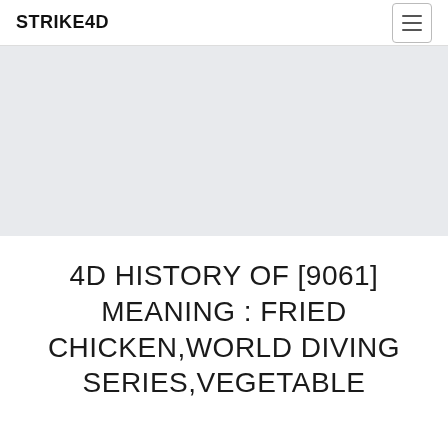STRIKE4D
[Figure (other): Light grey banner/advertisement placeholder area]
4D HISTORY OF [9061] MEANING : FRIED CHICKEN,WORLD DIVING SERIES,VEGETABLE